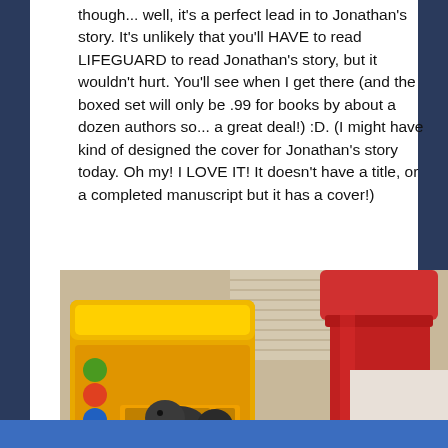though... well, it's a perfect lead in to Jonathan's story. It's unlikely that you'll HAVE to read LIFEGUARD to read Jonathan's story, but it wouldn't hurt. You'll see when I get there (and the boxed set will only be .99 for books by about a dozen authors so... a great deal!) :D. (I might have kind of designed the cover for Jonathan's story today. Oh my! I LOVE IT! It doesn't have a title, or a completed manuscript but it has a cover!)
[Figure (photo): A photograph showing a yellow bag of pet food, a red cylindrical container, and what appears to be a small dark animal (possibly a rabbit or small pet) in the foreground, taken indoors near a window.]